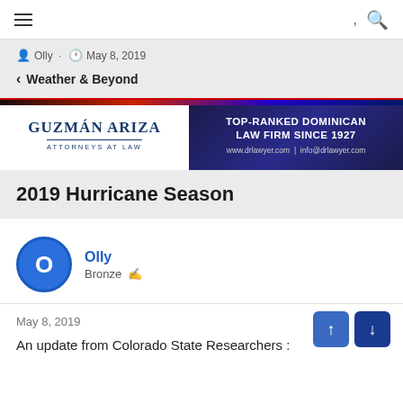≡  ,  🔍
👤 Olly · 🕐 May 8, 2019
< Weather & Beyond
[Figure (logo): Guzmán Ariza Attorneys at Law – Top-Ranked Dominican Law Firm Since 1927. www.drlawyer.com | info@drlawyer.com]
2019 Hurricane Season
Olly
Bronze 🔧
May 8, 2019
An update from Colorado State Researchers :